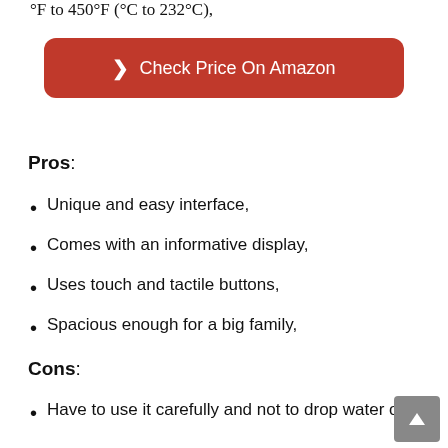°F to 450°F (°C to 232°C),
❯  Check Price On Amazon
Pros:
Unique and easy interface,
Comes with an informative display,
Uses touch and tactile buttons,
Spacious enough for a big family,
Cons:
Have to use it carefully and not to drop water on it,